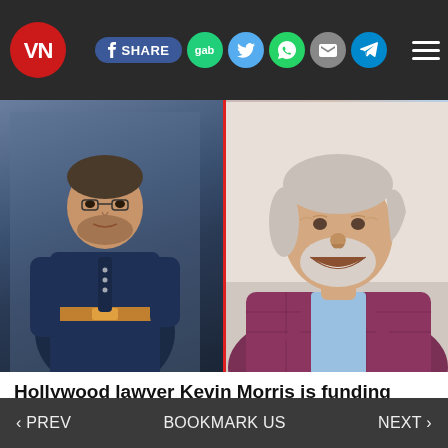VN | SHARE | gab | Twitter | WhatsApp | Email | Telegram | Menu
[Figure (photo): Two-panel photo: left panel shows Hunter Biden in a navy blue jacket with a brown belt; right panel shows Kevin Morris, a smiling older man with grey hair and beard wearing a purple plaid blazer and light blue shirt]
Hollywood lawyer Kevin Morris is funding Hunter Biden's lifestyle
‹ PREV    BOOKMARK US    NEXT ›